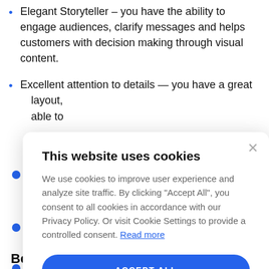Elegant Storyteller – you have the ability to engage audiences, clarify messages and helps customers with decision making through visual content.
Excellent attention to details — you have a great … layout, … able to
… skills – you … n processes to … n relation to
… – we believe … good design … new things.
… s.
Benefits
This website uses cookies

We use cookies to improve user experience and analyze site traffic. By clicking "Accept All", you consent to all cookies in accordance with our Privacy Policy. Or visit Cookie Settings to provide a controlled consent. Read more

ACCEPT ALL

SETTINGS